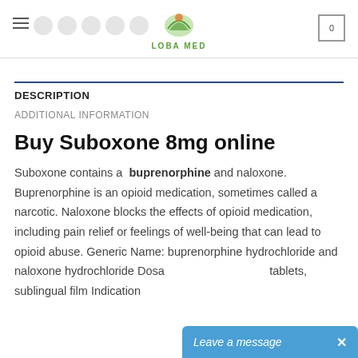LOBA MED
DESCRIPTION
ADDITIONAL INFORMATION
Buy Suboxone 8mg online
Suboxone contains a buprenorphine and naloxone. Buprenorphine is an opioid medication, sometimes called a narcotic. Naloxone blocks the effects of opioid medication, including pain relief or feelings of well-being that can lead to opioid abuse. Generic Name: buprenorphine hydrochloride and naloxone hydrochloride Dosage Form: sublingual tablets, sublingual film Indication